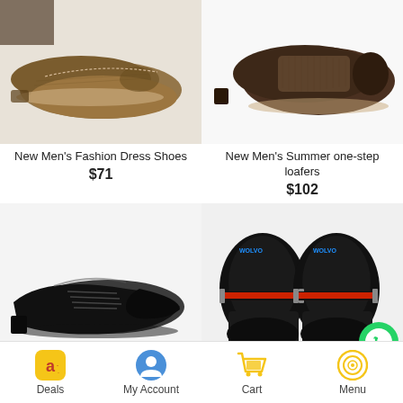[Figure (photo): Brown suede men's dress shoes on a white textured background]
New Men's Fashion Dress Shoes
$71
[Figure (photo): Dark brown leather men's loafers with textured side panel on white background]
New Men's Summer one-step loafers
$102
[Figure (photo): Black leather men's oxford lace-up dress shoes on white background]
[Figure (photo): Black leather men's loafers with red and green stripe detail, top-down view on white background]
Deals   My Account   Cart   Menu